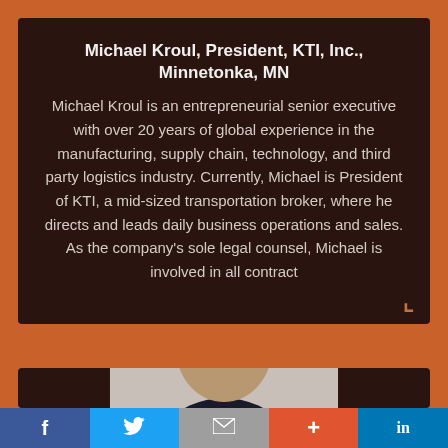Michael Kroul, President, KTI, Inc., Minnetonka, MN
Michael Kroul is an entrepreneurial senior executive with over 20 years of global experience in the manufacturing, supply chain, technology, and third party logistics industry. Currently, Michael is President of KTI, a mid-sized transportation broker, where he directs and leads daily business operations and sales. As the company's sole legal counsel, Michael is involved in all contract
[Figure (photo): Partial headshot photo of Michael Kroul, showing top of head and shoulders]